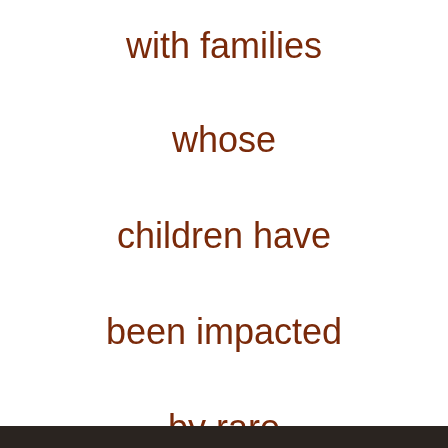with families

whose

children have

been impacted

by rare

cancers